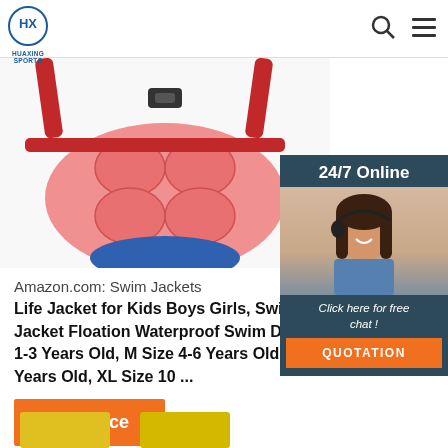HUAXING SPORTS (logo + search + menu icons)
[Figure (photo): Life jacket / swim jacket for kids — red straps with pink padded floatation front panel and blue accents, photographed from above/front, partially cut off at top]
[Figure (photo): 24/7 Online chat widget showing a smiling woman wearing a headset, with text '24/7 Online', 'Click here for free chat!', and an orange QUOTATION button]
Amazon.com: Swim Jackets
Life Jacket for Kids Boys Girls, Swimming Jacket Floation Waterproof Swim Device 1-3 Years Old, M Size 4-6 Years Old, L Years Old, XL Size 10 ...
Get Price
[Figure (logo): Red dotted arch/triangle logo with orange text 'TOP' — back to top button]
[Figure (photo): Partial view of yellow product images at bottom of page]